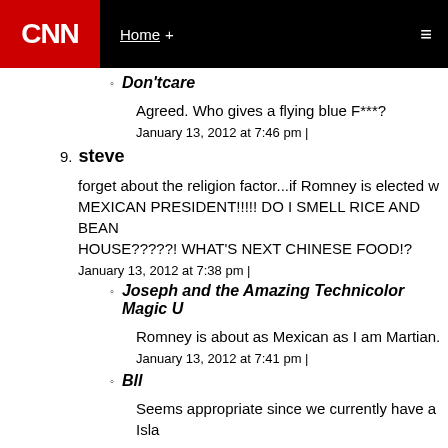CNN | Home +
Don'tcare
Agreed. Who gives a flying blue F***?
January 13, 2012 at 7:46 pm |
9. steve
forget about the religion factor...if Romney is elected w MEXICAN PRESIDENT!!!!! DO I SMELL RICE AND BEAN HOUSE?????! WHAT'S NEXT CHINESE FOOD!?
January 13, 2012 at 7:38 pm |
Joseph and the Amazing Technicolor Magic U
Romney is about as Mexican as I am Martian.
January 13, 2012 at 7:41 pm |
Bll
Seems appropriate since we currently have a Isla